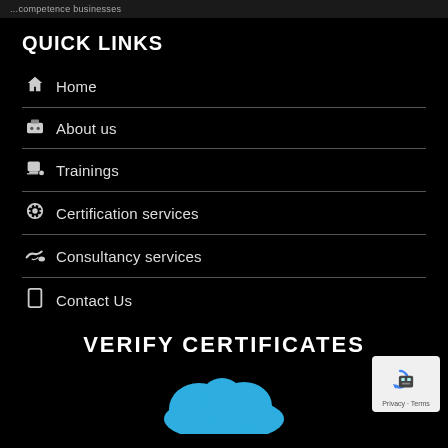...competence businesses
QUICK LINKS
Home
About us
Trainings
Certification services
Consultancy services
Contact Us
VERIFY CERTIFICATES
[Figure (illustration): Blue cloud icon below VERIFY CERTIFICATES heading]
[Figure (logo): reCAPTCHA badge with robot icon and Privacy - Terms text]